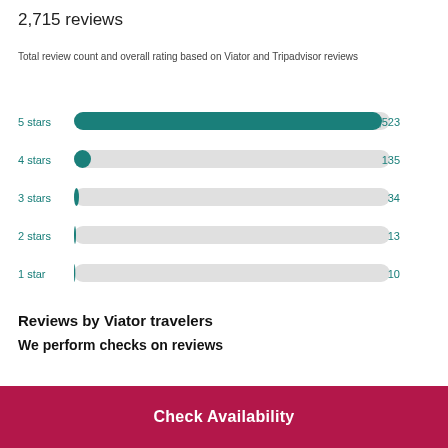2,715 reviews
Total review count and overall rating based on Viator and Tripadvisor reviews
[Figure (bar-chart): Star rating distribution]
Reviews by Viator travelers
We perform checks on reviews
Check Availability